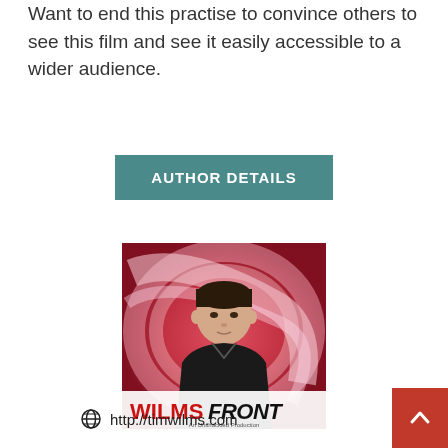Want to end this practise to convince others to see this film and see it easily accessible to a wider audience.
AUTHOR DETAILS
[Figure (photo): Photo of Tim Wilms with WilmsFront branding — a man with dark hair in front of a red/pink swirling background, with the WilmsFront logo below reading 'An Unshackled Production']
http://timwilms.com